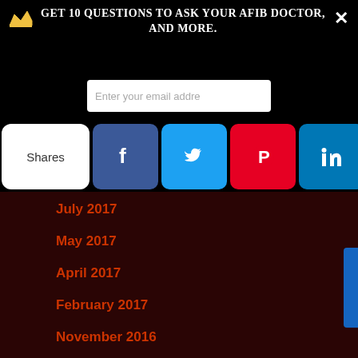Get 10 Questions to ask your AFIB doctor, and more.
[Figure (screenshot): Email subscription input field with placeholder text 'Enter your email addre...']
[Figure (infographic): Social share bar with buttons: Shares, Facebook, Twitter, Pinterest, LinkedIn, Email, Sumo]
July 2017
May 2017
April 2017
February 2017
November 2016
[Figure (logo): Powered by Sumo badge]
GET ALL MY NEW POSTS
Signup today for free updates.
[Figure (screenshot): Email input field with placeholder 'Enter your email address']
Subscribe Now